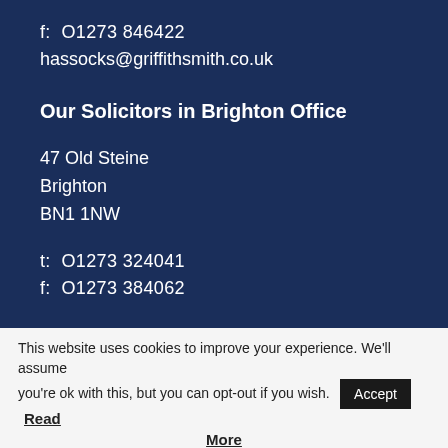f:  01273 846422
hassocks@griffithsmith.co.uk
Our Solicitors in Brighton Office
47 Old Steine
Brighton
BN1 1NW
t:  01273 324041
f:  01273 384062
This website uses cookies to improve your experience. We'll assume you're ok with this, but you can opt-out if you wish. Accept Read More